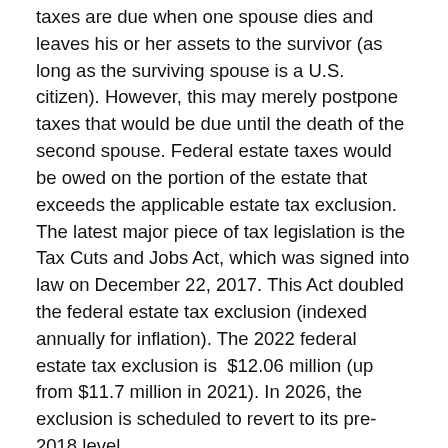taxes are due when one spouse dies and leaves his or her assets to the survivor (as long as the surviving spouse is a U.S. citizen). However, this may merely postpone taxes that would be due until the death of the second spouse. Federal estate taxes would be owed on the portion of the estate that exceeds the applicable estate tax exclusion. The latest major piece of tax legislation is the Tax Cuts and Jobs Act, which was signed into law on December 22, 2017. This Act doubled the federal estate tax exclusion (indexed annually for inflation). The 2022 federal estate tax exclusion is $12.06 million (up from $11.7 million in 2021). In 2026, the exclusion is scheduled to revert to its pre-2018 level.
One basic method to help maximize the exclusion for both spouses has been an A-B trust (also known as a marital and bypass trust), which preserves the estate tax exclusion of the first spouse to die and also enables the last-surviving spouse to utilize the exclusion — essentially doubling the amount excluded from the estate tax.
However, with enactment of the American Taxpayer Relief